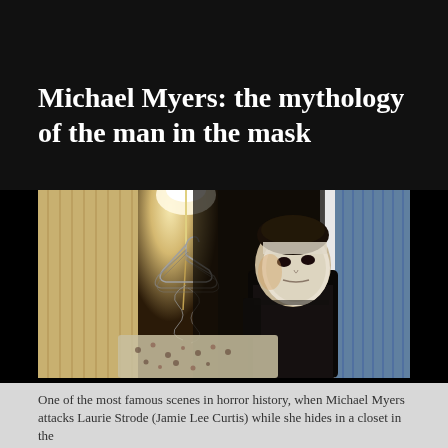Michael Myers: the mythology of the man in the mask
[Figure (photo): A scene from the movie Halloween showing Michael Myers in his white mask peeking through a closet door, with wire coat hangers hanging in the foreground and a bright light source above.]
One of the most famous scenes in horror history, when Michael Myers attacks Laurie Strode (Jamie Lee Curtis) while she hides in a closet in the